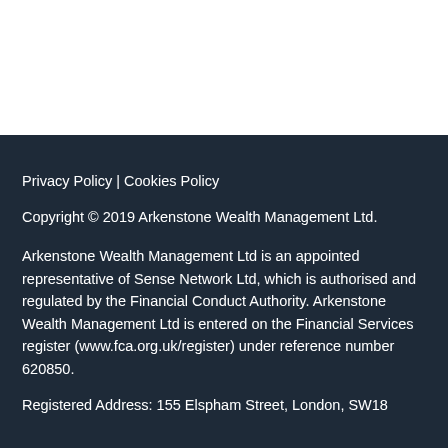Privacy Policy | Cookies Policy
Copyright © 2019 Arkenstone Wealth Management Ltd.
Arkenstone Wealth Management Ltd is an appointed representative of Sense Network Ltd, which is authorised and regulated by the Financial Conduct Authority. Arkenstone Wealth Management Ltd is entered on the Financial Services register (www.fca.org.uk/register) under reference number 620850.
Registered Address: 155 Elsopham Street, London, SW18